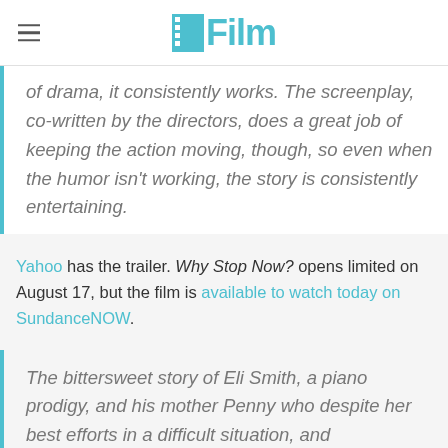/Film
of drama, it consistently works. The screenplay, co-written by the directors, does a great job of keeping the action moving, though, so even when the humor isn't working, the story is consistently entertaining.
Yahoo has the trailer. Why Stop Now? opens limited on August 17, but the film is available to watch today on SundanceNOW.
The bittersweet story of Eli Smith, a piano prodigy, and his mother Penny who despite her best efforts in a difficult situation, and...